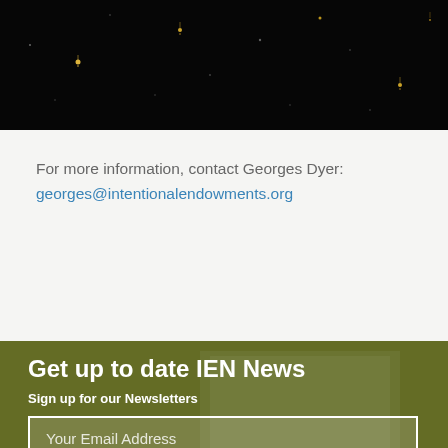[Figure (photo): Dark night sky with small glowing lights/lanterns scattered across a black background]
For more information, contact Georges Dyer:
georges@intentionalendowments.org
Get up to date IEN News
Sign up for our Newsletters
Your Email Address